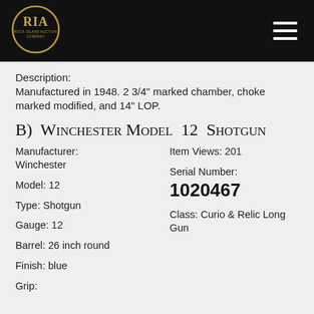[Figure (logo): Rock Island Auction Company oval logo with RIA text in gold on black background]
Description:
Manufactured in 1948. 2 3/4" marked chamber, choke marked modified, and 14" LOP.
B) Winchester Model 12 Shotgun
Manufacturer: Winchester
Item Views: 201
Model: 12
Serial Number: 1020467
Type: Shotgun
Class: Curio & Relic Long Gun
Gauge: 12
Barrel: 26 inch round
Finish: blue
Grip: